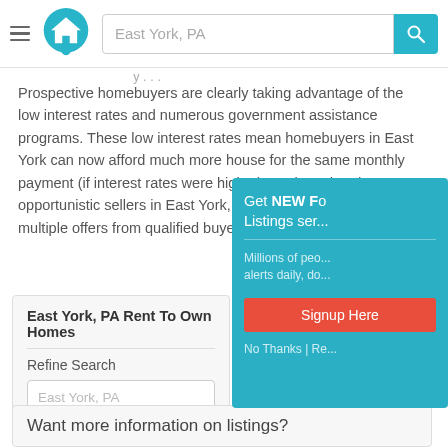East York, PA [search bar with search button]
Prospective homebuyers are clearly taking advantage of the low interest rates and numerous government assistance programs. These low interest rates mean homebuyers in East York can now afford much more house for the same monthly payment (if interest rates were higher). Motivated and opportunistic sellers in East York, meanwhile, can field multiple offers from qualified buyers.
East York, PA Rent To Own Homes
Refine Search
East York, PA
[Figure (screenshot): Popup overlay with teal background: 'Get NEW For-Sale Listings sent...' with signup call to action button 'Signup Here' and 'No Thanks | Re...' link]
Want more information on listings?